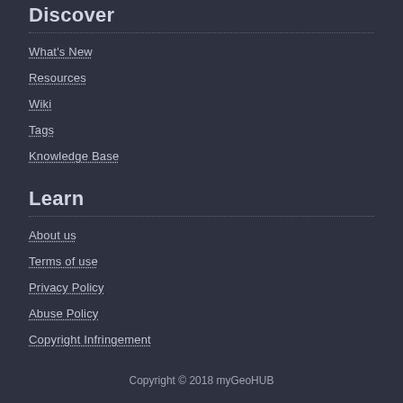Discover
What's New
Resources
Wiki
Tags
Knowledge Base
Learn
About us
Terms of use
Privacy Policy
Abuse Policy
Copyright Infringement
Copyright © 2018 myGeoHUB